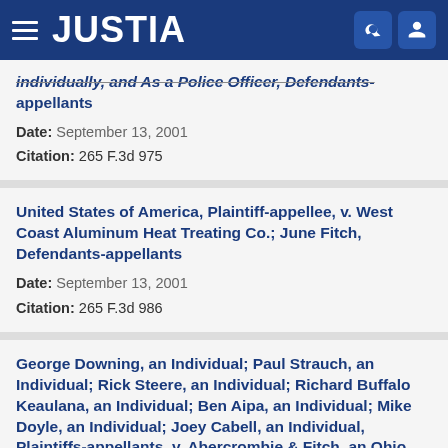JUSTIA
individually, and As a Police Officer, Defendants-appellants
Date: September 13, 2001
Citation: 265 F.3d 975
United States of America, Plaintiff-appellee, v. West Coast Aluminum Heat Treating Co.; June Fitch, Defendants-appellants
Date: September 13, 2001
Citation: 265 F.3d 986
George Downing, an Individual; Paul Strauch, an Individual; Rick Steere, an Individual; Richard Buffalo Keaulana, an Individual; Ben Aipa, an Individual; Mike Doyle, an Individual; Joey Cabell, an Individual, Plaintiffs-appellants, v. Abercrombie & Fitch, an Ohio